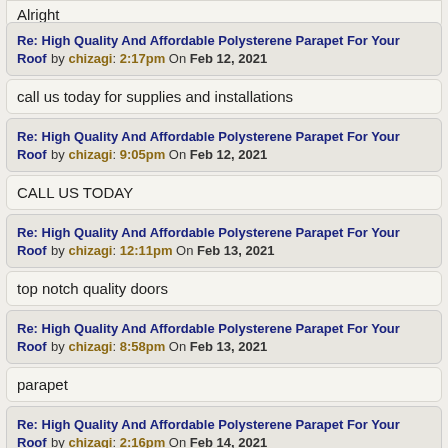Alright
Re: High Quality And Affordable Polysterene Parapet For Your Roof by chizagi: 2:17pm On Feb 12, 2021
call us today for supplies and installations
Re: High Quality And Affordable Polysterene Parapet For Your Roof by chizagi: 9:05pm On Feb 12, 2021
CALL US TODAY
Re: High Quality And Affordable Polysterene Parapet For Your Roof by chizagi: 12:11pm On Feb 13, 2021
top notch quality doors
Re: High Quality And Affordable Polysterene Parapet For Your Roof by chizagi: 8:58pm On Feb 13, 2021
parapet
Re: High Quality And Affordable Polysterene Parapet For Your Roof by chizagi: 2:16pm On Feb 14, 2021